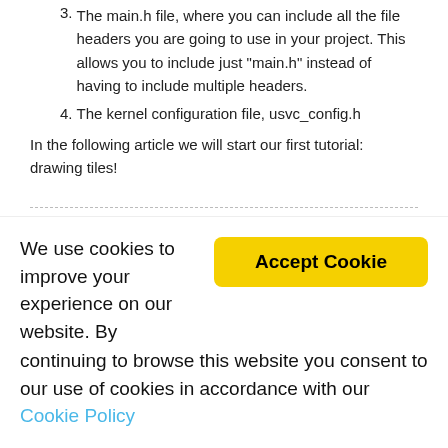3. The main.h file, where you can include all the file headers you are going to use in your project. This allows you to include just "main.h" instead of having to include multiple headers.
4. The kernel configuration file, usvc_config.h
In the following article we will start our first tutorial: drawing tiles!
← Previous post
Next post →
5 Comments
Mike Garcia    13/02/2021 at 0:05
We use cookies to improve your experience on our website. By continuing to browse this website you consent to our use of cookies in accordance with our Cookie Policy